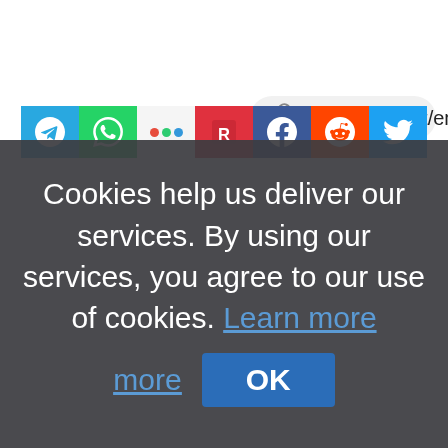[Figure (screenshot): Browser address bar showing URL https://sott.net/en468121 with link icon]
[Figure (screenshot): Row of social media share icons: Telegram, WhatsApp, Ello, Remind, Facebook, Reddit, Twitter]
Cookies help us deliver our services. By using our services, you agree to our use of cookies. Learn more
OK